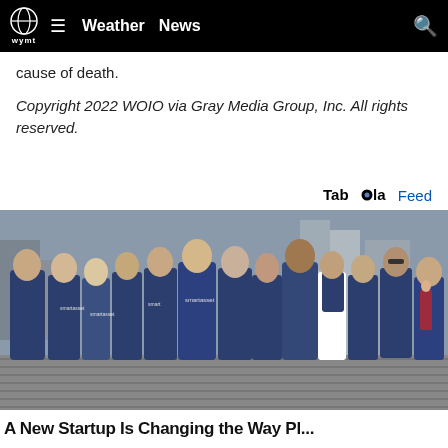WYMT - Weather | News
cause of death.
Copyright 2022 WOIO via Gray Media Group, Inc. All rights reserved.
Taboola Feed
[Figure (photo): Group photo of approximately 13 people wearing matching navy blue SmartAsset branded t-shirts, standing outdoors on a cobblestone street in an urban setting (appears to be New York City).]
A New Startup Is Changing the Way Pl...